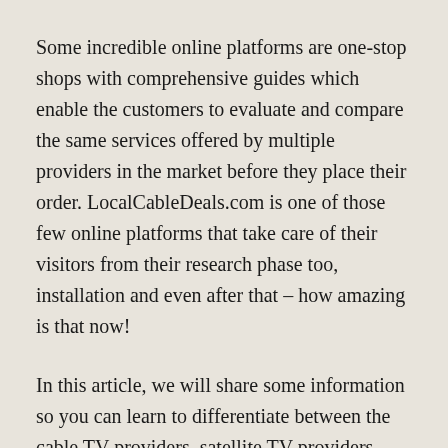Some incredible online platforms are one-stop shops with comprehensive guides which enable the customers to evaluate and compare the same services offered by multiple providers in the market before they place their order. LocalCableDeals.com is one of those few online platforms that take care of their visitors from their research phase too, installation and even after that – how amazing is that now!
In this article, we will share some information so you can learn to differentiate between the cable TV providers, satellite TV providers, and Fiber Optic TV. This will enable you to go for the most suitable option for yourself and your family – that entirely depends on the availability of these services in your area as well though. But in case you have all the cable, satellite, and Fiber Optic providers available in your area, then we can guide you on how to